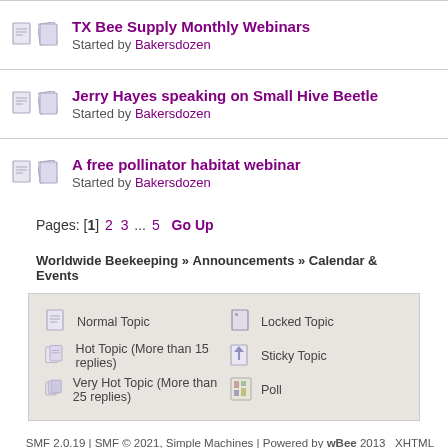TX Bee Supply Monthly Webinars — Started by Bakersdozen
Jerry Hayes speaking on Small Hive Beetle — Started by Bakersdozen
A free pollinator habitat webinar — Started by Bakersdozen
Pages: [1] 2 3 ... 5   Go Up
Worldwide Beekeeping » Announcements » Calendar & Events
Normal Topic | Hot Topic (More than 15 replies) | Very Hot Topic (More than 25 replies) | Locked Topic | Sticky Topic | Poll
SMF 2.0.19 | SMF © 2021, Simple Machines | Powered by wBee 2013   XHTML   RSS   W
Page created in 0.081 seconds with